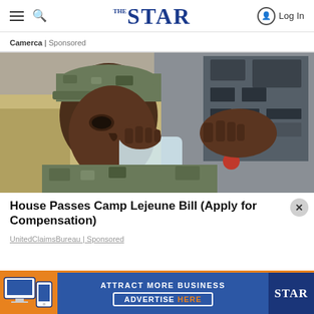THE STAR — Navigation bar with hamburger menu, search icon, logo, and Log In
Camerca | Sponsored
[Figure (photo): A soldier in camouflage uniform and cap drinking from a water bottle, with military equipment in the background.]
House Passes Camp Lejeune Bill (Apply for Compensation)
UnitedClaimsBureau | Sponsored
[Figure (infographic): Advertisement banner: ATTRACT MORE BUSINESS — ADVERTISE HERE — STAR logo]